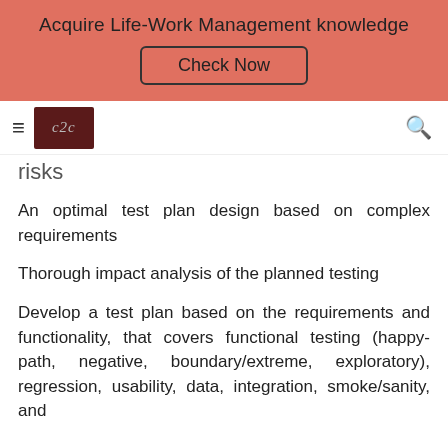[Figure (infographic): Salmon/coral colored banner with text 'Acquire Life-Work Management knowledge' and a 'Check Now' button with rounded rectangle border]
[Figure (logo): Navigation bar with hamburger menu icon, c2c logo in dark red/brown box, and search (magnifying glass) icon on the right]
risks
An optimal test plan design based on complex requirements
Thorough impact analysis of the planned testing
Develop a test plan based on the requirements and functionality, that covers functional testing (happy-path, negative, boundary/extreme, exploratory), regression, usability, data, integration, smoke/sanity, and